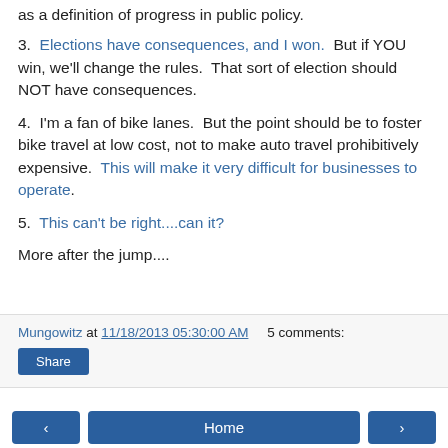as a definition of progress in public policy.
3. Elections have consequences, and I won. But if YOU win, we'll change the rules. That sort of election should NOT have consequences.
4. I'm a fan of bike lanes. But the point should be to foster bike travel at low cost, not to make auto travel prohibitively expensive. This will make it very difficult for businesses to operate.
5. This can't be right....can it?
More after the jump....
Mungowitz at 11/18/2013 05:30:00 AM   5 comments:  Share
< Home >